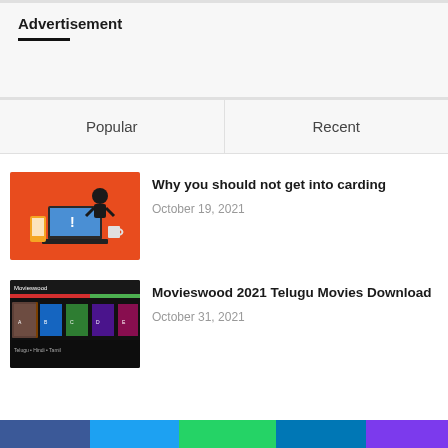Advertisement
Popular
Recent
Why you should not get into carding
October 19, 2021
[Figure (screenshot): Orange background with a hacker figure and laptop/phone icons illustrating carding]
Movieswood 2021 Telugu Movies Download
October 31, 2021
[Figure (screenshot): Movieswood website screenshot showing movie posters on dark background]